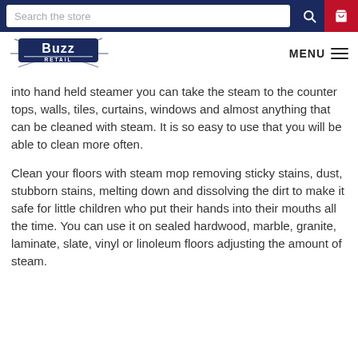Search the store | MENU
[Figure (logo): Buzz Retail logo — stylized bold text with rays]
into hand held steamer you can take the steam to the counter tops, walls, tiles, curtains, windows and almost anything that can be cleaned with steam. It is so easy to use that you will be able to clean more often.
Clean your floors with steam mop removing sticky stains, dust, stubborn stains, melting down and dissolving the dirt to make it safe for little children who put their hands into their mouths all the time. You can use it on sealed hardwood, marble, granite, laminate, slate, vinyl or linoleum floors adjusting the amount of steam.